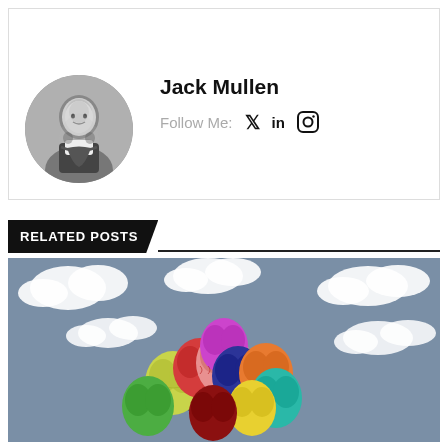[Figure (photo): Circular profile photo of Jack Mullen, a young man in a suit smiling, black and white photo]
Jack Mullen
Follow Me:  🐦  in  📷
RELATED POSTS
[Figure (illustration): Illustration of colorful brain-shaped balloons floating in a gray sky with white clouds. The brains are in various colors: yellow-green, green, red, pink, purple, dark blue, orange, teal, yellow, dark red.]